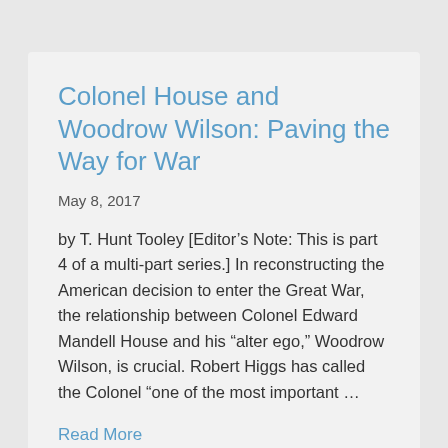Colonel House and Woodrow Wilson: Paving the Way for War
May 8, 2017
by T. Hunt Tooley [Editor’s Note: This is part 4 of a multi-part series.] In reconstructing the American decision to enter the Great War, the relationship between Colonel Edward Mandell House and his “alter ego,” Woodrow Wilson, is crucial. Robert Higgs has called the Colonel “one of the most important …
Read More